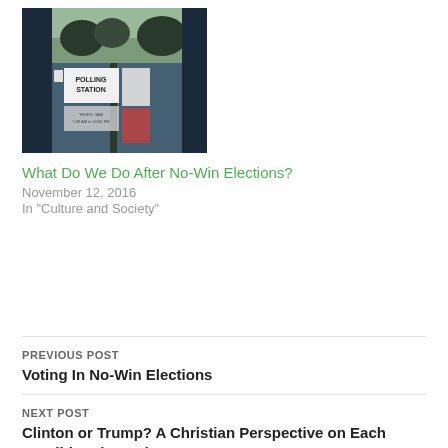[Figure (photo): A polling station door with signs including a 'POLLING STATION' sign, viewed from outside through glass doors]
What Do We Do After No-Win Elections?
November 12, 2016
In "Culture and Society"
PREVIOUS POST
Voting In No-Win Elections
NEXT POST
Clinton or Trump? A Christian Perspective on Each Candidate (Part 2)